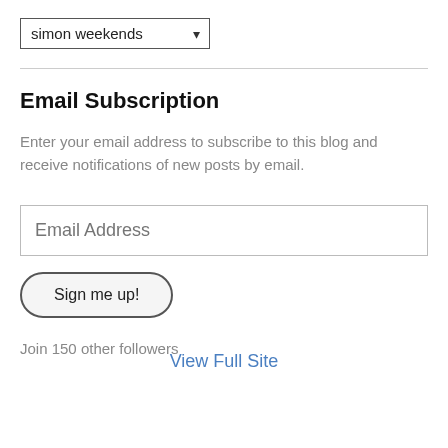[Figure (screenshot): Dropdown selector showing 'simon weekends' with a down arrow]
Email Subscription
Enter your email address to subscribe to this blog and receive notifications of new posts by email.
[Figure (screenshot): Email Address input text field]
[Figure (screenshot): Sign me up! button with rounded pill shape]
Join 150 other followers
View Full Site